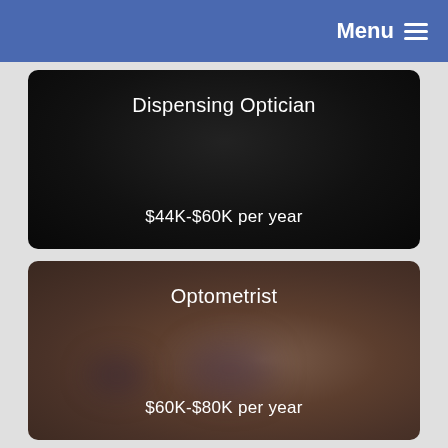Menu
[Figure (infographic): Dark card showing job title 'Dispensing Optician' and salary range '$44K-$60K per year']
[Figure (infographic): Brown card showing job title 'Optometrist' and salary range '$60K-$80K per year']